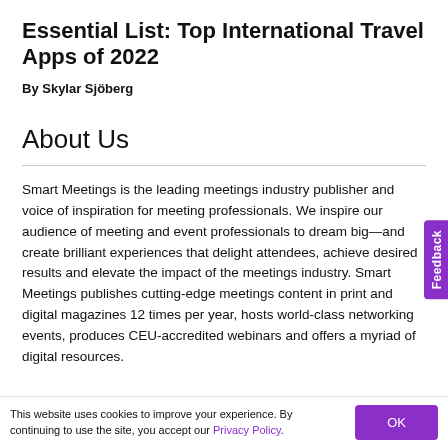Essential List: Top International Travel Apps of 2022
By Skylar Sjöberg
About Us
Smart Meetings is the leading meetings industry publisher and voice of inspiration for meeting professionals. We inspire our audience of meeting and event professionals to dream big—and create brilliant experiences that delight attendees, achieve desired results and elevate the impact of the meetings industry. Smart Meetings publishes cutting-edge meetings content in print and digital magazines 12 times per year, hosts world-class networking events, produces CEU-accredited webinars and offers a myriad of digital resources.
This website uses cookies to improve your experience. By continuing to use the site, you accept our Privacy Policy.